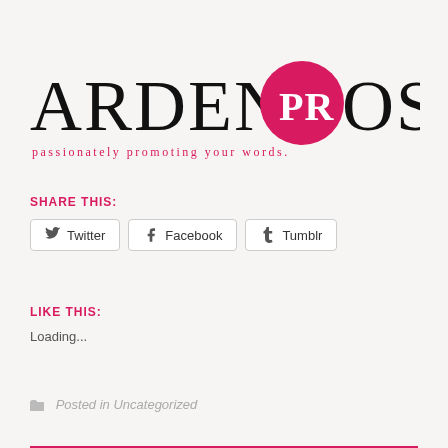[Figure (logo): Ardent Prose logo with speech bubble containing 'PR' in white on pink/red circle, text 'passionately promoting your words.' in pink below]
SHARE THIS:
Twitter  Facebook  Tumblr
LIKE THIS:
Loading...
Posted in Uncategorized